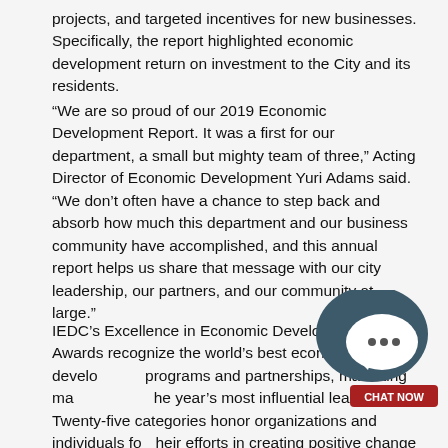projects, and targeted incentives for new businesses. Specifically, the report highlighted economic development return on investment to the City and its residents.
“We are so proud of our 2019 Economic Development Report. It was a first for our department, a small but mighty team of three,” Acting Director of Economic Development Yuri Adams said. “We don’t often have a chance to step back and absorb how much this department and our business community have accomplished, and this annual report helps us share that message with our city leadership, our partners, and our community at large.”
IEDC’s Excellence in Economic Development Awards recognize the world’s best economic development programs and partnerships, marketing ma[...] the year’s most influential leaders. Twenty-five categories honor organizations and individuals for their efforts in creating positive change in urban, suburban, and rural communities.
[Figure (other): Chat widget overlay showing a dark teal speech bubble with a white chat bubble containing three dots, and a red 'CHAT NOW' button below it.]